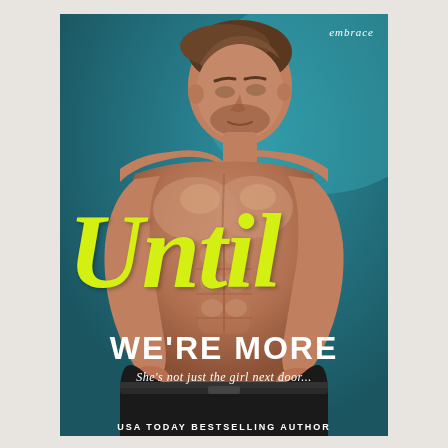[Figure (photo): Book cover image showing a shirtless muscular man with short brown hair looking downward, against a teal/dark blue-green background. The man has an athletic physique with visible abs and stubble beard.]
Until WE'RE MORE
She's not just the girl next door...
USA TODAY BESTSELLING AUTHOR
embrace